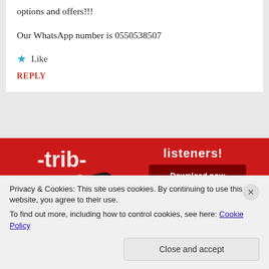options and offers!!!
Our WhatsApp number is 0550538507
★ Like
REPLY
[Figure (photo): Red advertisement showing a smartphone with podcast app and 'Download now' button, partially visible text '-trib-uted' and 'listeners!']
Privacy & Cookies: This site uses cookies. By continuing to use this website, you agree to their use.
To find out more, including how to control cookies, see here: Cookie Policy
Close and accept